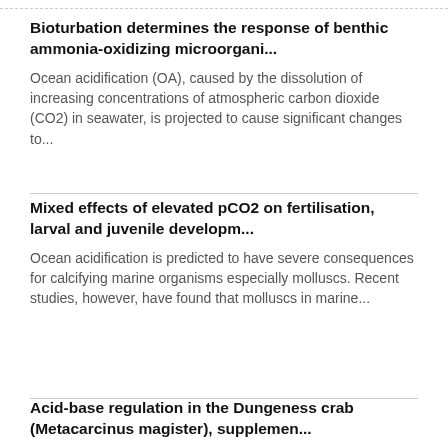Bioturbation determines the response of benthic ammonia-oxidizing microorgani...
Ocean acidification (OA), caused by the dissolution of increasing concentrations of atmospheric carbon dioxide (CO2) in seawater, is projected to cause significant changes to...
Mixed effects of elevated pCO2 on fertilisation, larval and juvenile developm...
Ocean acidification is predicted to have severe consequences for calcifying marine organisms especially molluscs. Recent studies, however, have found that molluscs in marine...
Acid-base regulation in the Dungeness crab (Metacarcinus magister), supplemen...